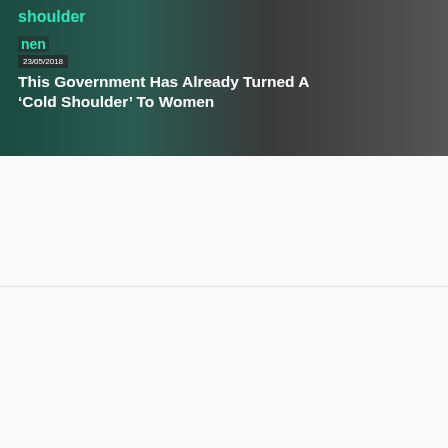[Figure (photo): News article card with dark teal and grey background showing a person in a suit, overlaid with article title and date]
This Government Has Already Turned A ‘Cold Shoulder’ To Women
23/05/2018
« Older Posts
Watch: why we're fighting, and why should join.